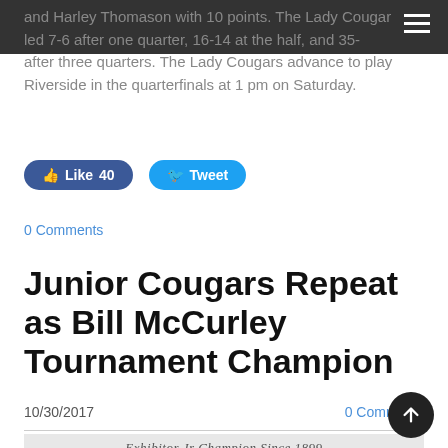and Harley Thomason with 10 points. The Lady Cougar led 7-6 after one quarter, 16-14 at the half, and 35- after three quarters. The Lady Cougars advance to play Riverside in the quarterfinals at 1 pm on Saturday.
Like 40   Tweet
0 Comments
Junior Cougars Repeat as Bill McCurley Tournament Champion
10/30/2017
0 Comments
[Figure (photo): Partial view of a group photo with italic script text reading 'Exhibitor Jr Champion Since 1899']